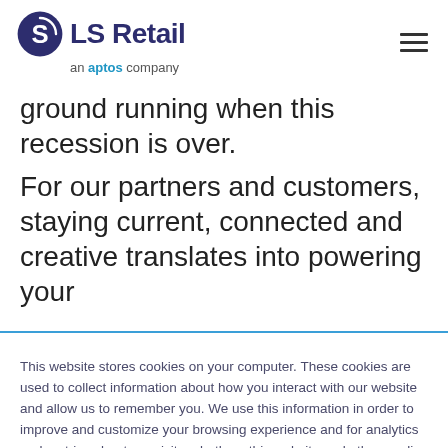[Figure (logo): LS Retail logo with circular S icon in purple, text 'LS Retail' in dark navy, tagline 'an aptos company' below]
ground running when this recession is over.
For our partners and customers, staying current, connected and creative translates into powering your
This website stores cookies on your computer. These cookies are used to collect information about how you interact with our website and allow us to remember you. We use this information in order to improve and customize your browsing experience and for analytics and metrics about our visitors both on this website and other media. To find out more about the cookies we use, see our Privacy Policy.
If you decline, your information won't be tracked when you visit this website. A single cookie will be used in your browser to remember your preference not to be tracked.